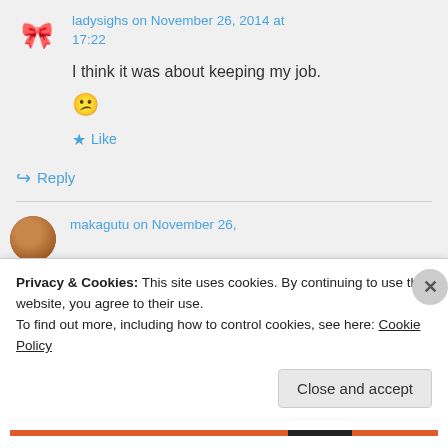ladysighs on November 26, 2014 at 17:22
I think it was about keeping my job.
😕
★ Like
↪ Reply
makagutu on November 26,
Privacy & Cookies: This site uses cookies. By continuing to use this website, you agree to their use.
To find out more, including how to control cookies, see here: Cookie Policy
Close and accept